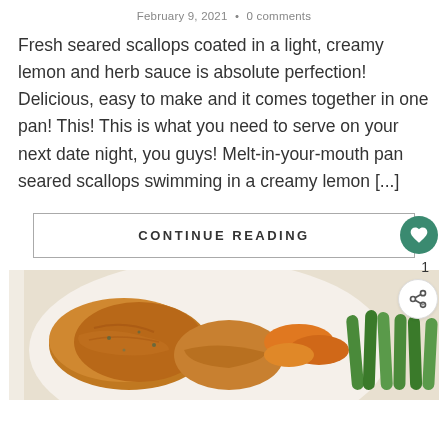February 9, 2021 · 0 comments
Fresh seared scallops coated in a light, creamy lemon and herb sauce is absolute perfection! Delicious, easy to make and it comes together in one pan! This! This is what you need to serve on your next date night, you guys! Melt-in-your-mouth pan seared scallops swimming in a creamy lemon [...]
CONTINUE READING
[Figure (photo): Food photo showing cooked chicken or meat with carrots and green beans on a white plate]